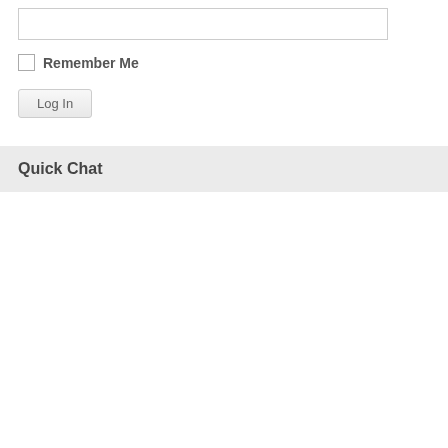[Figure (screenshot): Empty text input field with a rectangular border]
Remember Me
Log In
Quick Chat